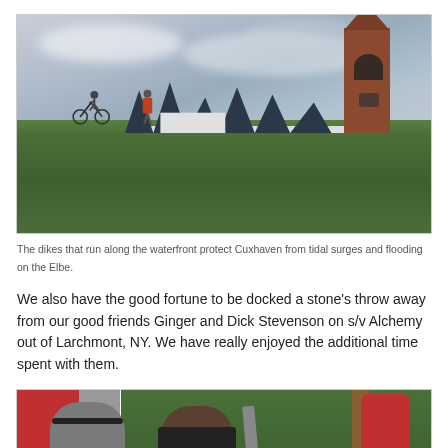[Figure (photo): A grassy dike with two people (one with a bicycle) standing on top, with rooftops of houses and a tall brick Gothic church tower visible against a cloudy sky. Location: Cuxhaven, Germany.]
The dikes that run along the waterfront protect Cuxhaven from tidal surges and flooding on the Elbe.
We also have the good fortune to be docked a stone's throw away from our good friends Ginger and Dick Stevenson on s/v Alchemy out of Larchmont, NY. We have really enjoyed the additional time spent with them.
[Figure (photo): Two people at a playground with red building in the background and green grass, with playground equipment visible.]